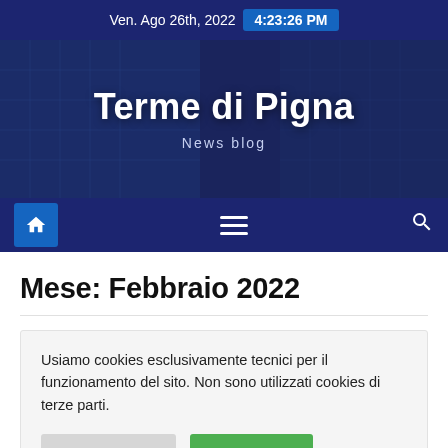Ven. Ago 26th, 2022  4:23:26 PM
Terme di Pigna
News blog
[Figure (screenshot): Navigation bar with home icon, hamburger menu, and search icon on dark navy background]
Mese: Febbraio 2022
Usiamo cookies esclusivamente tecnici per il funzionamento del sito. Non sono utilizzati cookies di terze parti.